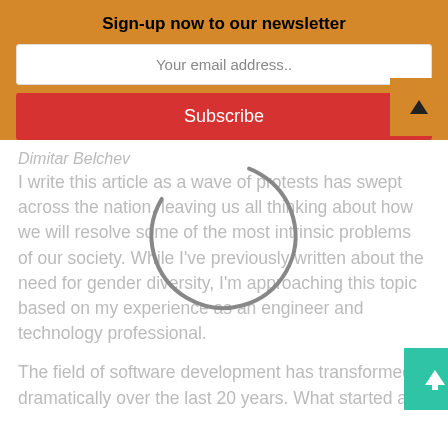Sign-up now to our newsletter
Your email address..
Subscribe
Dimitar Belchev
I write this article as a wave of protests has swept across the nation, leaving us all thinking about how we will resolve some of the most intrinsic problems of our society. While I've previously written about the need for gender diversity, I'm approaching this topic based on my experience as an engineer and technology professional.
The field of software development has transformed dramatically over the last 20 years. What started as a field of separate, isolated units has now evolved into a melting pot of time-boxed